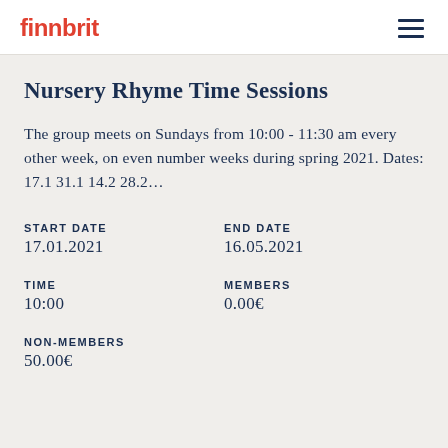finnbrit
Nursery Rhyme Time Sessions
The group meets on Sundays from 10:00 - 11:30 am every other week, on even number weeks during spring 2021. Dates: 17.1 31.1 14.2 28.2…
| START DATE | END DATE |
| --- | --- |
| 17.01.2021 | 16.05.2021 |
| TIME | MEMBERS |
| --- | --- |
| 10:00 | 0.00€ |
| NON-MEMBERS |
| --- |
| 50.00€ |